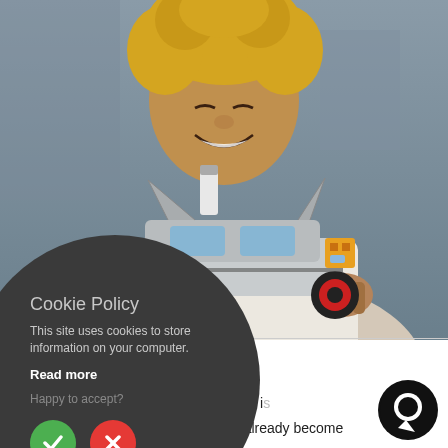[Figure (photo): A smiling person with curly blonde hair holds up a detailed LEGO DeLorean car model (Back to the Future time machine) with gull-wing doors open, flux capacitor and other sci-fi parts visible.]
[Figure (screenshot): Cookie Policy popup overlay (dark circular dialog): Title 'Cookie Policy', body text 'This site uses cookies to store information on your computer.', bold link 'Read more', text 'Happy to accept?' with green checkmark accept button and red X reject button.]
go collection set "Back to the
n been released yet (the premiere is
ected on April 1, 2022), but has already become